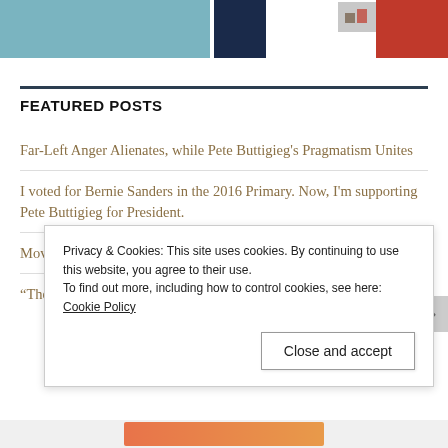[Figure (photo): Top image strip showing partial images: blue-teal image on left, navy rectangle, small icons/logo, and red image on right]
FEATURED POSTS
Far-Left Anger Alienates, while Pete Buttigieg's Pragmatism Unites
I voted for Bernie Sanders in the 2016 Primary. Now, I'm supporting Pete Buttigieg for President.
Moving on from Beto O'Rourke to Pete Buttigieg
“The Buttigieg campaign feels more like a movement than a t
Privacy & Cookies: This site uses cookies. By continuing to use this website, you agree to their use.
To find out more, including how to control cookies, see here: Cookie Policy
Close and accept